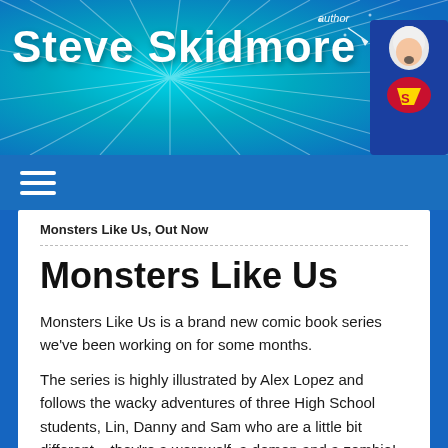[Figure (illustration): Blue swirling banner with white text 'Steve Skidmore' and a person in a Superman costume with an aviator hat and handwritten 'author' label with arrow]
Steve Skidmore
Monsters Like Us, Out Now
Monsters Like Us
Monsters Like Us is a brand new comic book series we've been working on for some months.
The series is highly illustrated by Alex Lopez and follows the wacky adventures of three High School students, Lin, Danny and Sam who are a little bit different – they're a werewolf, a demon and a zombie!